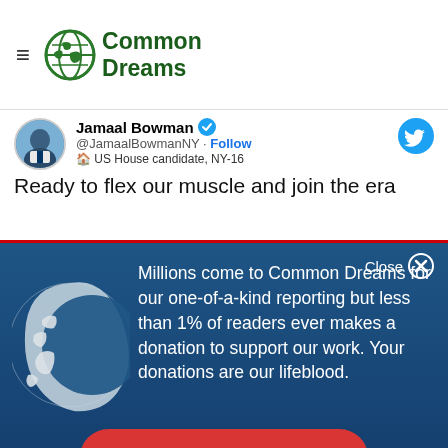Common Dreams
Jamaal Bowman @JamaalBowmanNY · Follow · US House candidate, NY-16
Ready to flex our muscle and join the era
Close ✕
Millions come to Common Dreams for our one-of-a-kind reporting but less than 1% of readers ever makes a donation to support our work. Your donations are our lifeblood.
DONATE NOW